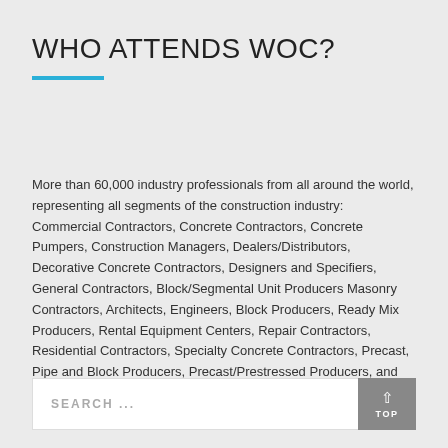WHO ATTENDS WOC?
More than 60,000 industry professionals from all around the world, representing all segments of the construction industry: Commercial Contractors, Concrete Contractors, Concrete Pumpers, Construction Managers, Dealers/Distributors, Decorative Concrete Contractors, Designers and Specifiers, General Contractors, Block/Segmental Unit Producers Masonry Contractors, Architects, Engineers, Block Producers, Ready Mix Producers, Rental Equipment Centers, Repair Contractors, Residential Contractors, Specialty Concrete Contractors, Precast, Pipe and Block Producers, Precast/Prestressed Producers, and more.
SEARCH ...